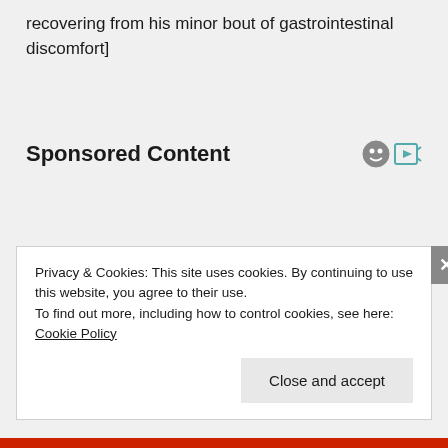recovering from his minor bout of gastrointestinal discomfort]
Sponsored Content
Privacy & Cookies: This site uses cookies. By continuing to use this website, you agree to their use.
To find out more, including how to control cookies, see here: Cookie Policy
Close and accept